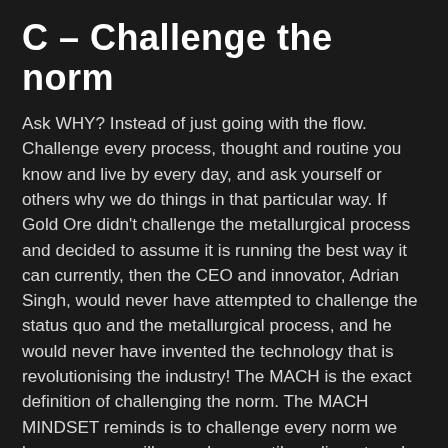C – Challenge the norm
Ask WHY? Instead of just going with the flow. Challenge every process, thought and routine you know and live by every day, and ask yourself or others why we do things in that particular way. If Gold Ore didn't challenge the metallurgical process and decided to assume it is running the best way it can currently, then the CEO and innovator, Adrian Singh, would never have attempted to challenge the status quo and the metallurgical process, and he would never have invented the technology that is revolutionising the industry! The MACH is the exact definition of challenging the norm. The MACH MINDSET reminds is to challenge every norm we know – as we will never know until we dissect each process we live by to realize that there just may be a better way!
Get support and other perspectives. Sow the seeds